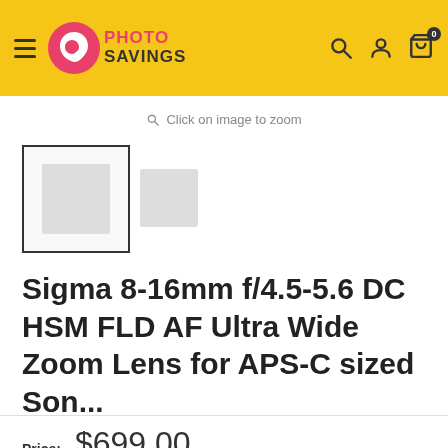Photo Savings
Click on image to zoom
[Figure (photo): Product thumbnail images: one large thumbnail with border selected, one smaller secondary thumbnail]
Sigma 8-16mm f/4.5-5.6 DC HSM FLD AF Ultra Wide Zoom Lens for APS-C sized Son...
Price: $699.00